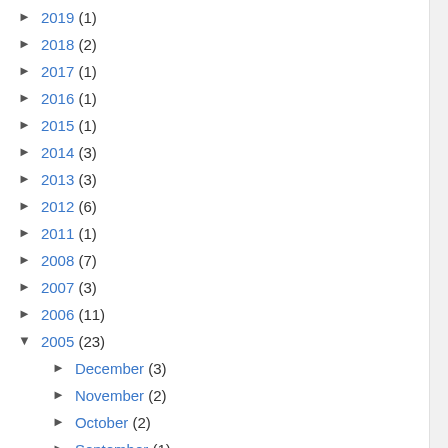► 2019 (1)
► 2018 (2)
► 2017 (1)
► 2016 (1)
► 2015 (1)
► 2014 (3)
► 2013 (3)
► 2012 (6)
► 2011 (1)
► 2008 (7)
► 2007 (3)
► 2006 (11)
▼ 2005 (23)
► December (3)
► November (2)
► October (2)
► September (1)